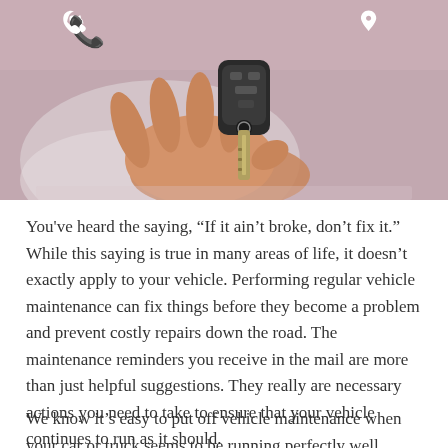[Figure (photo): A hand holding a car key fob with a phone icon (white) on the upper left and a location pin icon (white) on the upper right, set against a light pinkish-grey background.]
You've heard the saying, “If it ain’t broke, don’t fix it.” While this saying is true in many areas of life, it doesn’t exactly apply to your vehicle. Performing regular vehicle maintenance can fix things before they become a problem and prevent costly repairs down the road. The maintenance reminders you receive in the mail are more than just helpful suggestions. They really are necessary actions you need to take to ensure that your vehicle continues to run as it should.
We know it’s easy to put off vehicle maintenance when your car or truck seems to be running perfectly well. Newer vehicles have